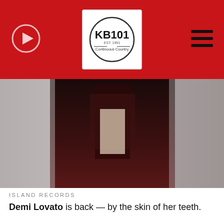KB101 Continuous Country
[Figure (photo): Partial view of Demi Lovato music/album visual with dark red tones]
ISLAND RECORDS
Demi Lovato is back — by the skin of her teeth.
The 29-year-old singer dropped their new single "Skin Of My Teeth" on Friday along with the visuals to match. Both the track and the video introduce a new rock era for Demi, which she told Jimmy Fallon during an appearance on The Tonight Show on Thursday, was actually a return to her roots, noting, "that's what I started singing when I released my first album, second album..."